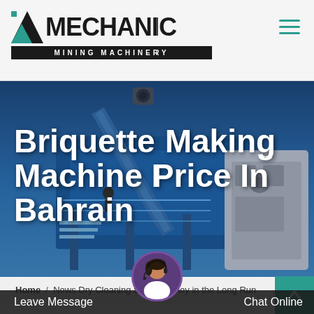MECHANIC MINING MACHINERY
Briquette Making Machine Price In Bahrain
Home / News Dry Cleaning Saves Money in the Long Run
Leave Message   Chat Online